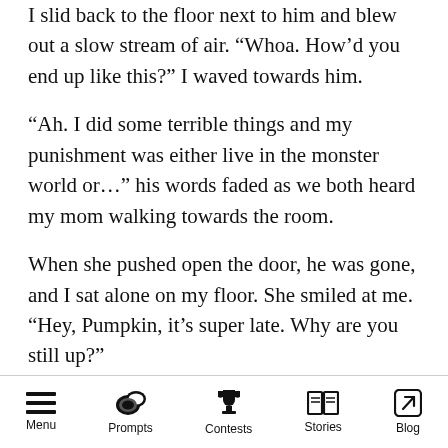I slid back to the floor next to him and blew out a slow stream of air. “Whoa. How’d you end up like this?” I waved towards him.
“Ah. I did some terrible things and my punishment was either live in the monster world or…” his words faded as we both heard my mom walking towards the room.
When she pushed open the door, he was gone, and I sat alone on my floor. She smiled at me. “Hey, Pumpkin, it’s super late. Why are you still up?”
“Can’t sleep. Thought I’d pack.”
Menu  Prompts  Contests  Stories  Blog